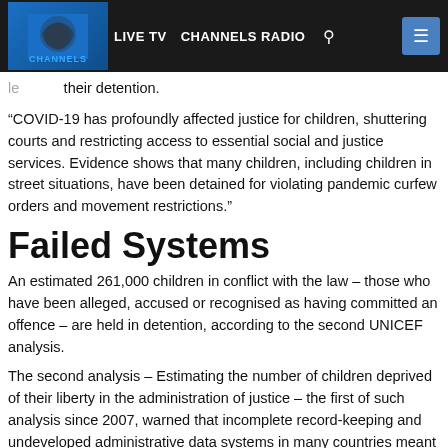LIVE TV  CHANNELS RADIO
their detention.
“COVID-19 has profoundly affected justice for children, shuttering courts and restricting access to essential social and justice services. Evidence shows that many children, including children in street situations, have been detained for violating pandemic curfew orders and movement restrictions.”
Failed Systems
An estimated 261,000 children in conflict with the law – those who have been alleged, accused or recognised as having committed an offence – are held in detention, according to the second UNICEF analysis.
The second analysis – Estimating the number of children deprived of their liberty in the administration of justice – the first of such analysis since 2007, warned that incomplete record-keeping and undeveloped administrative data systems in many countries meant the number was likely to be much higher.
“Any child detained is evidence of failed systems, but that failure is then compounded [as they] continue to remain in detention…